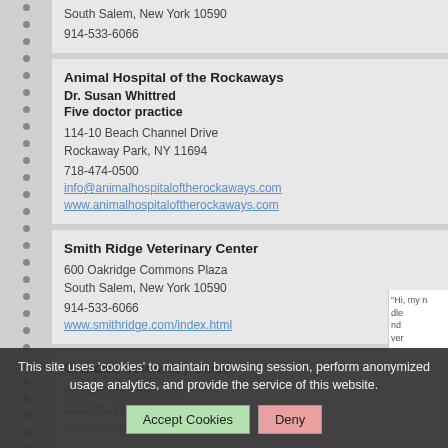South Salem, New York 10590
914-533-6066
Animal Hospital of the Rockaways
Dr. Susan Whittred
Five doctor practice
114-10 Beach Channel Drive
Rockaway Park, NY 11694
718-474-0500
info@animalhospitaloftherockaways.com
www.animalhospitaloftherockaways.com
Smith Ridge Veterinary Center
600 Oakridge Commons Plaza
South Salem, New York 10590
914-533-6066
www.smithridge.com/index.html
Glendale Veterinary Clinic
glendalevets@aol.com
347-599-1335
www.glendalevetclinic.com
This site uses 'cookies' to maintain browsing session, perform anonymized usage analytics, and provide the service of this website.